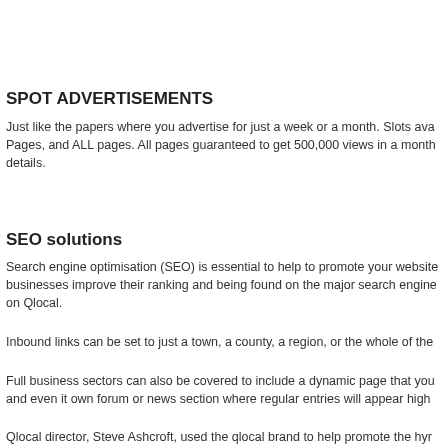SPOT ADVERTISEMENTS
Just like the papers where you advertise for just a week or a month. Slots ava Pages, and ALL pages. All pages guaranteed to get 500,000 views in a month details.
SEO solutions
Search engine optimisation (SEO) is essential to help to promote your website businesses improve their ranking and being found on the major search engine on Qlocal.
Inbound links can be set to just a town, a county, a region, or the whole of the
Full business sectors can also be covered to include a dynamic page that you and even it own forum or news section where regular entries will appear high
Qlocal director, Steve Ashcroft, used the qlocal brand to help promote the hyr